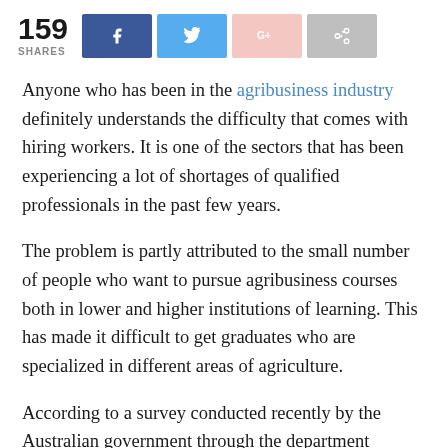[Figure (infographic): Social share bar showing 159 shares with Facebook (dark blue), Twitter (light blue), Google+ (pink), and share (gray) buttons]
Anyone who has been in the agribusiness industry definitely understands the difficulty that comes with hiring workers. It is one of the sectors that has been experiencing a lot of shortages of qualified professionals in the past few years.
The problem is partly attributed to the small number of people who want to pursue agribusiness courses both in lower and higher institutions of learning. This has made it difficult to get graduates who are specialized in different areas of agriculture.
According to a survey conducted recently by the Australian government through the department